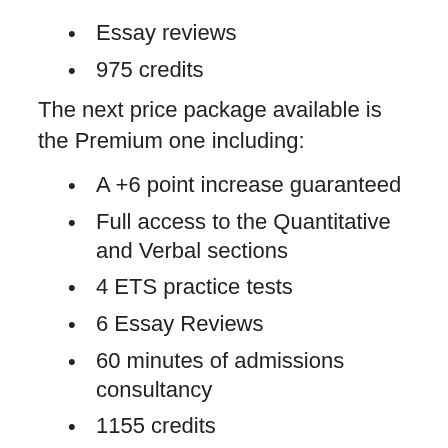Essay reviews
975 credits
The next price package available is the Premium one including:
A +6 point increase guaranteed
Full access to the Quantitative and Verbal sections
4 ETS practice tests
6 Essay Reviews
60 minutes of admissions consultancy
1155 credits
The last price package available is the Genius one including: